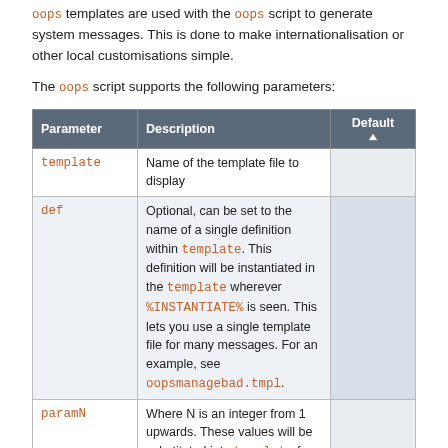oops templates are used with the oops script to generate system messages. This is done to make internationalisation or other local customisations simple.
The oops script supports the following parameters:
| Parameter | Description | Default |
| --- | --- | --- |
| template | Name of the template file to display |  |
| def | Optional, can be set to the name of a single definition within template. This definition will be instantiated in the template wherever %INSTANTIATE% is seen. This lets you use a single template file for many messages. For an example, see oopsmanagebad.tmpl. |  |
| paramN | Where N is an integer from 1 upwards. These values will be substituted into template for %PARAM1% etc. |  |